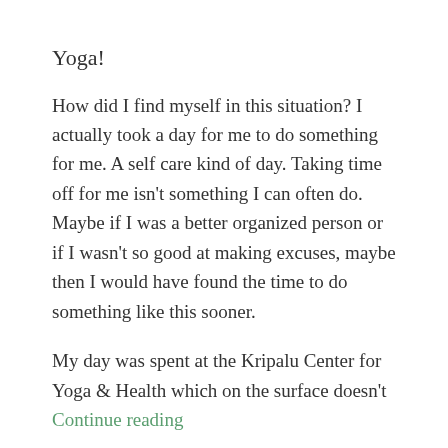Yoga!
How did I find myself in this situation? I actually took a day for me to do something for me. A self care kind of day. Taking time off for me isn't something I can often do. Maybe if I was a better organized person or if I wasn't so good at making excuses, maybe then I would have found the time to do something like this sooner.
My day was spent at the Kripalu Center for Yoga & Health which on the surface doesn't Continue reading
By Peter Mis in intention, self care | August 24, 2019 | 586 Words | Leave a comment